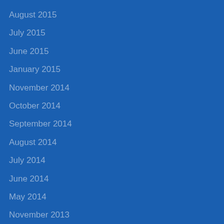August 2015
July 2015
June 2015
January 2015
November 2014
October 2014
September 2014
August 2014
July 2014
June 2014
May 2014
November 2013